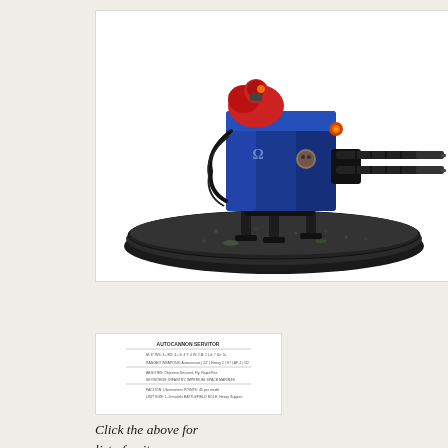[Figure (photo): A painted Warhammer 40K Space Marine miniature — a blue and red heavy weapons turret platform (twin autocannon or similar heavy weapons) mounted on a grey textured oval base. The turret is bright blue with a red-armored operator visible. Two long gun barrels extend to the right.]
[Figure (screenshot): A small thumbnail image showing a document or data card with text, likely a unit stat card or reference sheet.]
Click the above for list of units